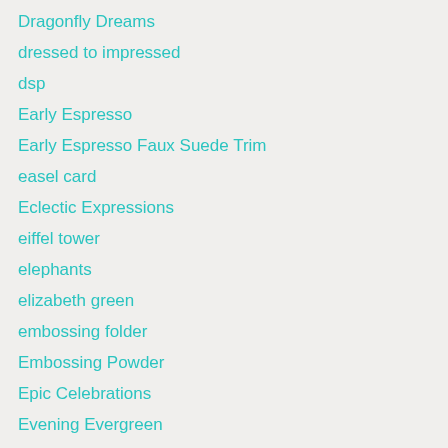Dragonfly Dreams
dressed to impressed
dsp
Early Espresso
Early Espresso Faux Suede Trim
easel card
Eclectic Expressions
eiffel tower
elephants
elizabeth green
embossing folder
Embossing Powder
Epic Celebrations
Evening Evergreen